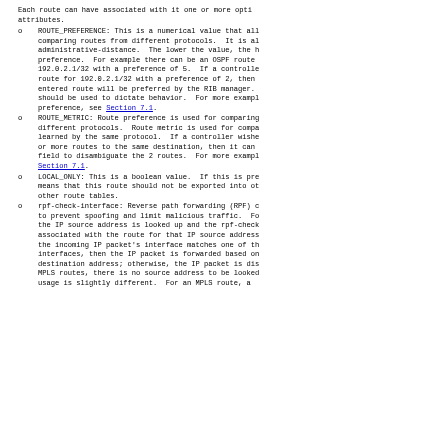Each route can have associated with it one or more optional attributes.
ROUTE_PREFERENCE: This is a numerical value that allows comparing routes from different protocols. It is also called administrative-distance. The lower the value, the higher the preference. For example there can be an OSPF route for 192.0.2.1/32 with a preference of 5. If a controller enters a route for 192.0.2.1/32 with a preference of 2, then the controller-entered route will be preferred by the RIB manager. Preference should be used to dictate behavior. For more examples of preference, see Section 7.1.
ROUTE_METRIC: Route preference is used for comparing routes from different protocols. Route metric is used for comparing routes learned by the same protocol. If a controller wishes to install 2 or more routes to the same destination, then it can use the metric field to disambiguate the 2 routes. For more examples, see Section 7.1.
LOCAL_ONLY: This is a boolean value. If this is present, it means that this route should not be exported into other VRFs or other route tables.
rpf-check-interface: Reverse path forwarding (RPF) check is used to prevent spoofing and limit malicious traffic. For unicast routes, the IP source address is looked up and the rpf-check-interface associated with the route for that IP source address is compared with the incoming IP packet's interface matches one of the rpf-check interfaces, then the IP packet is forwarded based on the destination address; otherwise, the IP packet is discarded. For MPLS routes, there is no source address to be looked up, so RPF usage is slightly different. For an MPLS route, a ...